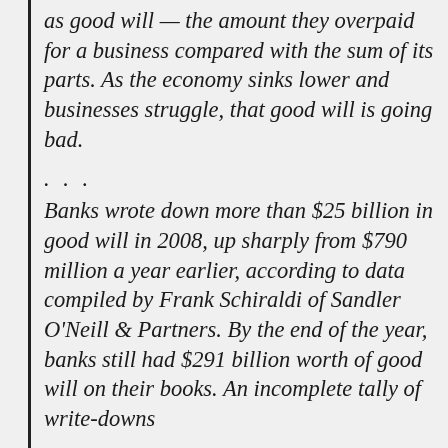as good will — the amount they overpaid for a business compared with the sum of its parts. As the economy sinks lower and businesses struggle, that good will is going bad.
. . .
Banks wrote down more than $25 billion in good will in 2008, up sharply from $790 million a year earlier, according to data compiled by Frank Schiraldi of Sandler O'Neill & Partners. By the end of the year, banks still had $291 billion worth of good will on their books. An incomplete tally of write-downs